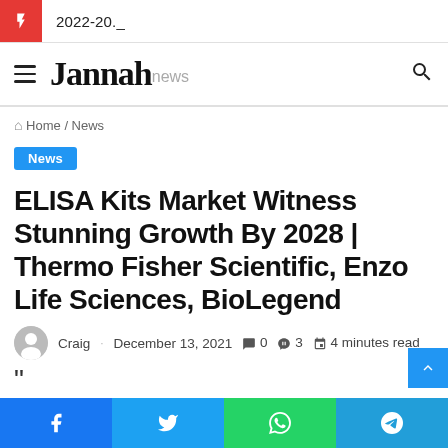2022-20._
Jannah news
Home / News
News
ELISA Kits Market Witness Stunning Growth By 2028 | Thermo Fisher Scientific, Enzo Life Sciences, BioLegend
Craig · December 13, 2021  0  3  4 minutes read